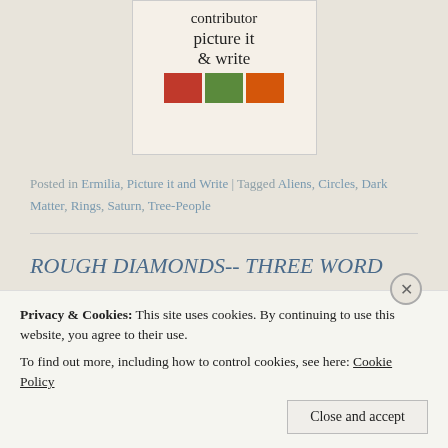[Figure (illustration): Contributor badge for 'picture it & write' showing text and polaroid-style photos]
Posted in Ermilia, Picture it and Write | Tagged Aliens, Circles, Dark Matter, Rings, Saturn, Tree-People
ROUGH DIAMONDS-- THREE WORD
Privacy & Cookies: This site uses cookies. By continuing to use this website, you agree to their use.
To find out more, including how to control cookies, see here: Cookie Policy
Close and accept